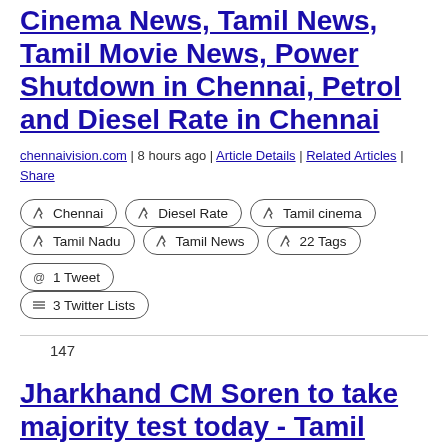Cinema News, Tamil News, Tamil Movie News, Power Shutdown in Chennai, Petrol and Diesel Rate in Chennai
chennaivision.com | 8 hours ago | Article Details | Related Articles | Share
Chennai
Diesel Rate
Tamil cinema
Tamil Nadu
Tamil News
22 Tags
1 Tweet
3 Twitter Lists
147
Jharkhand CM Soren to take majority test today - Tamil Nadu News, Chennai News, Tamil